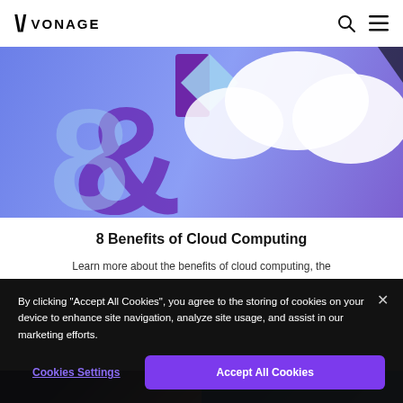VONAGE
[Figure (illustration): Colorful illustration with purple/blue background showing a large ampersand '&' numeral '8' in purple and light blue, with white cloud shape and purple rectangular block, for an article about 8 benefits of cloud computing]
8 Benefits of Cloud Computing
Learn more about the benefits of cloud computing, the
By clicking “Accept All Cookies”, you agree to the storing of cookies on your device to enhance site navigation, analyze site usage, and assist in our marketing efforts.
Cookies Settings
Accept All Cookies